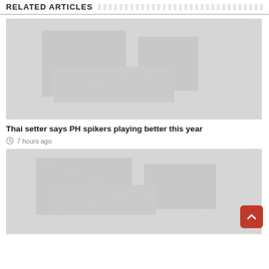RELATED ARTICLES
[Figure (photo): Placeholder image for first related article, light gray background]
Thai setter says PH spikers playing better this year
7 hours ago
[Figure (photo): Placeholder image for second related article, light gray background]